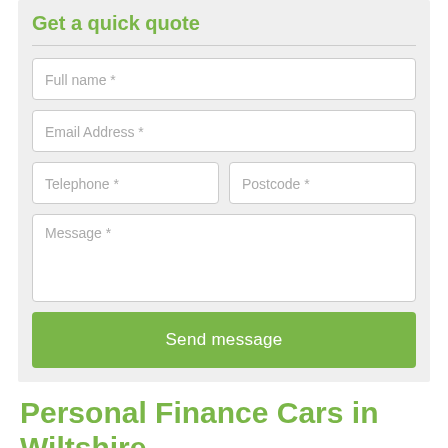Get a quick quote
[Figure (screenshot): Web form with fields: Full name *, Email Address *, Telephone *, Postcode *, Message *, and a Send message button]
Personal Finance Cars in Wiltshire
We have a range of personal finance cars in Wiltshire SP4 8 available for you direct. Simply visit our of our autotrader